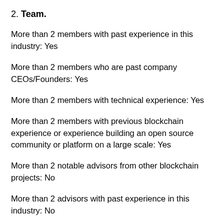2. Team.
More than 2 members with past experience in this industry: Yes
More than 2 members who are past company CEOs/Founders: Yes
More than 2 members with technical experience: Yes
More than 2 members with previous blockchain experience or experience building an open source community or platform on a large scale: Yes
More than 2 notable advisors from other blockchain projects: No
More than 2 advisors with past experience in this industry: No